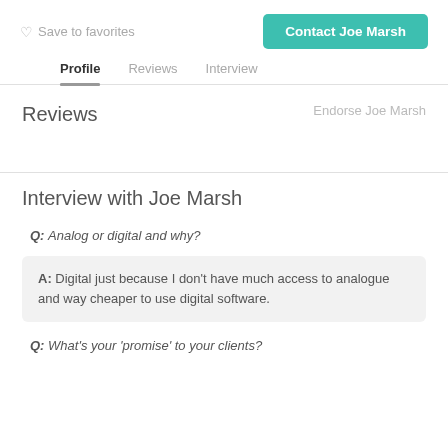Save to favorites
Contact Joe Marsh
Profile   Reviews   Interview
Reviews
Endorse Joe Marsh
Interview with Joe Marsh
Q: Analog or digital and why?
A: Digital just because I don't have much access to analogue and way cheaper to use digital software.
Q: What's your 'promise' to your clients?